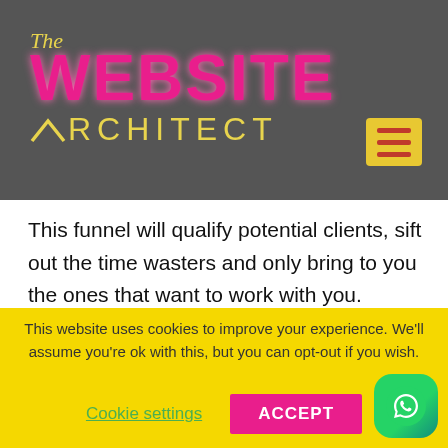The Website Architect
This funnel will qualify potential clients, sift out the time wasters and only bring to you the ones that want to work with you. Generally these are for products or services that are £997 and over.

It preframes your prospect to the
This website uses cookies to improve your experience. We'll assume you're ok with this, but you can opt-out if you wish.
Cookie settings  ACCEPT